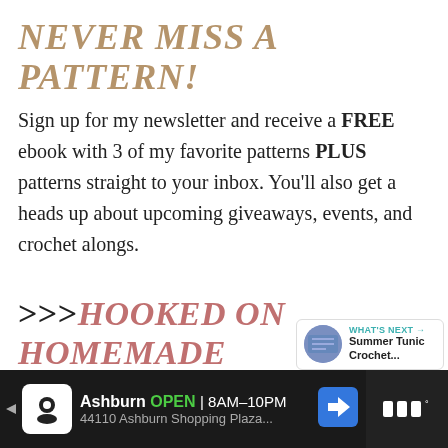NEVER MISS A PATTERN!
Sign up for my newsletter and receive a FREE ebook with 3 of my favorite patterns PLUS patterns straight to your inbox. You'll also get a heads up about upcoming giveaways, events, and crochet alongs.
>>>HOOKED ON HOMEMADE NEWSLETTER<<<
[Figure (other): Social sharing panel with heart icon (teal circle), count 11, share icon, and up arrow icon]
[Figure (other): What's Next panel with thumbnail and text: Summer Tunic Crochet...]
Ashburn OPEN 8AM-10PM 44110 Ashburn Shopping Plaza...